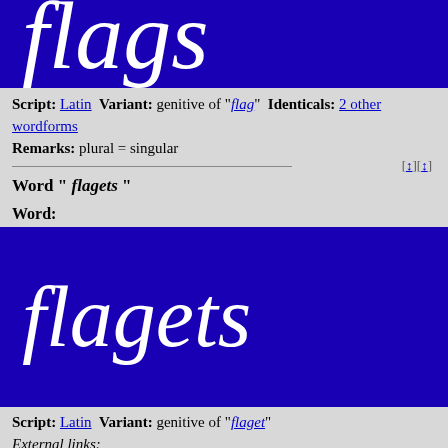[Figure (other): Blue banner showing the word 'flags' in large white italic serif font, cropped at top]
Script: Latin  Variant: genitive of "flag"  Identicals: 2 other wordforms
Remarks: plural = singular
Word " flagets "
Word:
[Figure (other): Blue banner showing the word 'flagets' in large white italic serif font]
Script: Latin  Variant: genitive of "flaget"
External links:
English Wikitionary entry about flagets